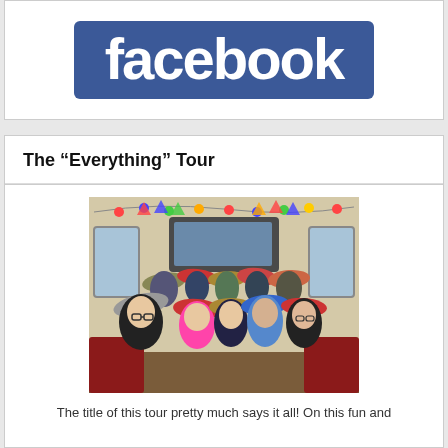[Figure (logo): Facebook logo — white lowercase 'facebook' text on a blue rectangular background]
The “Everything” Tour
[Figure (photo): Group of women wearing colorful hats seated inside a decorated bus with string lights and bunting]
The title of this tour pretty much says it all! On this fun and